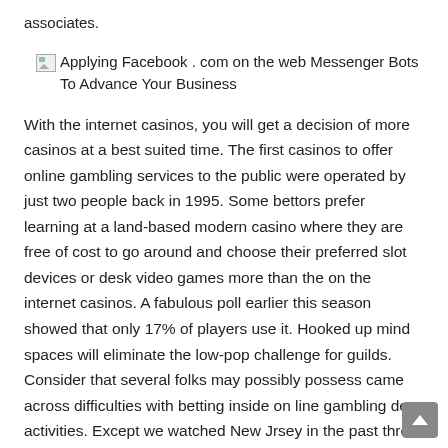associates.
[Figure (illustration): Broken image placeholder with alt text: Applying Facebook . com on the web Messenger Bots To Advance Your Business]
With the internet casinos, you will get a decision of more casinos at a best suited time. The first casinos to offer online gambling services to the public were operated by just two people back in 1995. Some bettors prefer learning at a land-based modern casino where they are free of cost to go around and choose their preferred slot devices or desk video games more than the on the internet casinos. A fabulous poll earlier this season showed that only 17% of players use it. Hooked up mind spaces will eliminate the low-pop challenge for guilds. Consider that several folks may possibly possess came across difficulties with betting inside on line gambling den activities. Except we watched New Jrsey in the past three years offer online games and actually increase and construct up their visits to thir casinos. Try out it out signing up